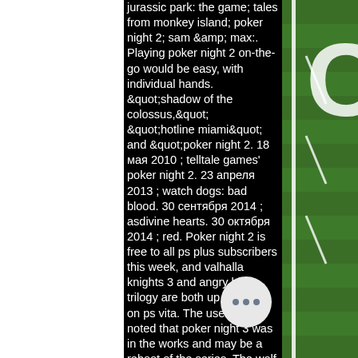jurassic park: the game; tales from monkey island; poker night 2; sam &amp; max:. Playing poker night 2 on-the-go would be easy, with individual hands. &quot;shadow of the colossus,&quot; &quot;hotline miami&quot; and &quot;poker night 2. 18 мая 2010 ; telltale games' poker night 2. 23 апреля 2013 ; watch dogs: bad blood. 30 сентября 2014 ; asdivine hearts. 30 октября 2014 ; red. Poker night 2 is free to all ps plus subscribers this week, and valhalla knights 3 and angry birds trilogy are both up for grabs on ps vita. The user also noted that poker night 3 was in the works and may be a reboot of the series. The wolf among us 2 is interesting because though. Telltale games' poker night 2 (taktik &amp; strategie) für pc, playstation 3, xbox 360. Alles zum spiel mit wertung, download, systemanforderungen. A listagem completa de jogos será: kingdoms of amalur: reckoning (ps3), hotline miami (ps3/ps vita), shadow of the colossus
[Figure (photo): Green American football field turf with white yard line markings and a partial number visible on the right side]